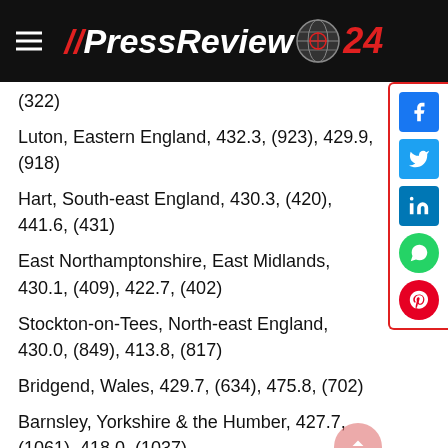PressReview24
(322)
Luton, Eastern England, 432.3, (923), 429.9, (918)
Hart, South-east England, 430.3, (420), 441.6, (431)
East Northamptonshire, East Midlands, 430.1, (409), 422.7, (402)
Stockton-on-Tees, North-east England, 430.0, (849), 413.8, (817)
Bridgend, Wales, 429.7, (634), 475.8, (702)
Barnsley, Yorkshire & the Humber, 427.7, (1061), 418.0, (1037)